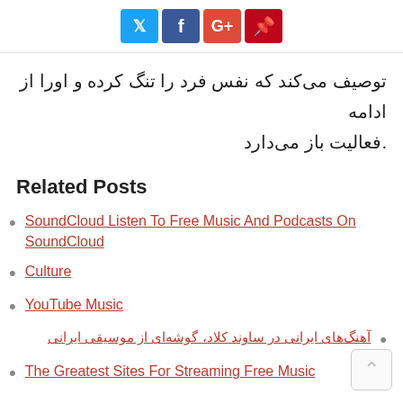[Figure (other): Social share buttons: Twitter (blue), Facebook (dark blue), Google+ (red), Pinterest (dark red)]
توصیف می‌کند که نفس فرد را تنگ کرده و اورا از ادامه فعالیت باز می‌دارد.
Related Posts
SoundCloud Listen To Free Music And Podcasts On SoundCloud
Culture
YouTube Music
آهنگ‌های ایرانی در ساوند کلاد، گوشه‌ای از موسیقی ایرانی
The Greatest Sites For Streaming Free Music